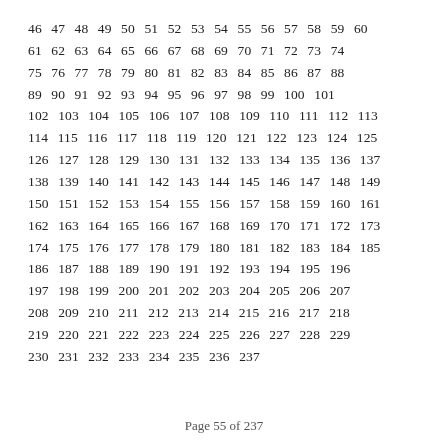46 47 48 49 50 51 52 53 54 55 56 57 58 59 60 61 62 63 64 65 66 67 68 69 70 71 72 73 74 75 76 77 78 79 80 81 82 83 84 85 86 87 88 89 90 91 92 93 94 95 96 97 98 99 100 101 102 103 104 105 106 107 108 109 110 111 112 113 114 115 116 117 118 119 120 121 122 123 124 125 126 127 128 129 130 131 132 133 134 135 136 137 138 139 140 141 142 143 144 145 146 147 148 149 150 151 152 153 154 155 156 157 158 159 160 161 162 163 164 165 166 167 168 169 170 171 172 173 174 175 176 177 178 179 180 181 182 183 184 185 186 187 188 189 190 191 192 193 194 195 196 197 198 199 200 201 202 203 204 205 206 207 208 209 210 211 212 213 214 215 216 217 218 219 220 221 222 223 224 225 226 227 228 229 230 231 232 233 234 235 236 237
Page 55 of 237